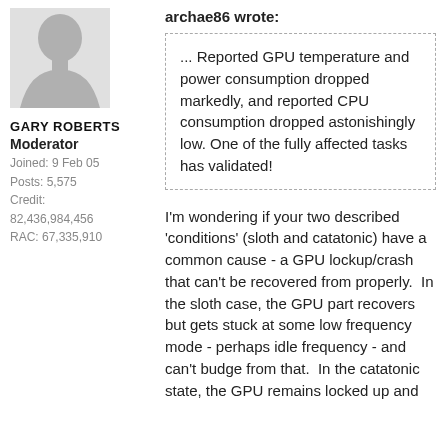[Figure (illustration): Gray silhouette avatar image of a person (upper body, hourglass shape)]
GARY ROBERTS
Moderator
Joined: 9 Feb 05
Posts: 5,575
Credit:
82,436,984,456
RAC: 67,335,910
archae86 wrote:
... Reported GPU temperature and power consumption dropped markedly, and reported CPU consumption dropped astonishingly low. One of the fully affected tasks has validated!
I'm wondering if your two described 'conditions' (sloth and catatonic) have a common cause - a GPU lockup/crash that can't be recovered from properly.  In the sloth case, the GPU part recovers but gets stuck at some low frequency mode - perhaps idle frequency - and can't budge from that.  In the catatonic state, the GPU remains locked up and